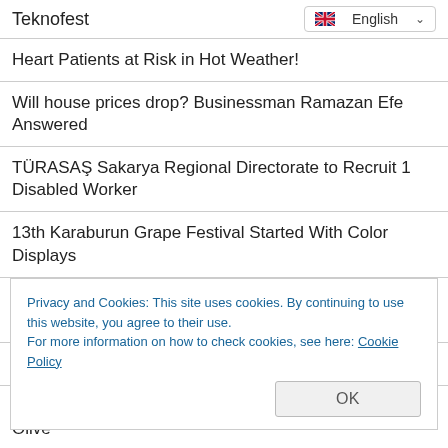Teknofest
Heart Patients at Risk in Hot Weather!
Will house prices drop? Businessman Ramazan Efe Answered
TÜRASAŞ Sakarya Regional Directorate to Recruit 1 Disabled Worker
13th Karaburun Grape Festival Started With Color Displays
Çeşnigir Bridge, Repaired by Mimar Sinan, Standing for 822 Years
Faces of the Earth Exhibition by Sculptor Akay
What Should We Pay Attention To While Buying Ayvalık Olive
Privacy and Cookies: This site uses cookies. By continuing to use this website, you agree to their use.
For more information on how to check cookies, see here: Cookie Policy
Rail System Installation Started on Bangladesh's Padma Bridge